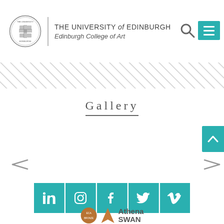[Figure (logo): University of Edinburgh crest/seal logo, circular, black and white]
THE UNIVERSITY of EDINBURGH
Edinburgh College of Art
[Figure (other): Diagonal striped banner/divider]
Gallery
[Figure (other): Social media icon buttons row: LinkedIn, Instagram, Facebook, Twitter, Vimeo — teal square icons]
[Figure (logo): Athena SWAN logo with bronze award icon and text 'Athena SWAN']